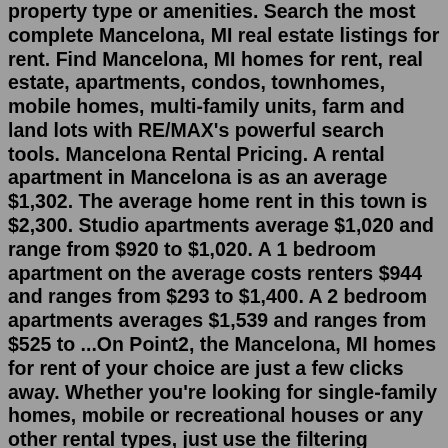property type or amenities. Search the most complete Mancelona, MI real estate listings for rent. Find Mancelona, MI homes for rent, real estate, apartments, condos, townhomes, mobile homes, multi-family units, farm and land lots with RE/MAX's powerful search tools. Mancelona Rental Pricing. A rental apartment in Mancelona is as an average $1,302. The average home rent in this town is $2,300. Studio apartments average $1,020 and range from $920 to $1,020. A 1 bedroom apartment on the average costs renters $944 and ranges from $293 to $1,400. A 2 bedroom apartments averages $1,539 and ranges from $525 to ...On Point2, the Mancelona, MI homes for rent of your choice are just a few clicks away. Whether you're looking for single-family homes, mobile or recreational houses or any other rental types, just use the filtering options provided to get a list of properties based on your criteria. How to find Mancelona, MI houses for rent I can afford? Mancelona Rental Pricing. A rental apartment in Mancelona is as an average $1,302. The average home